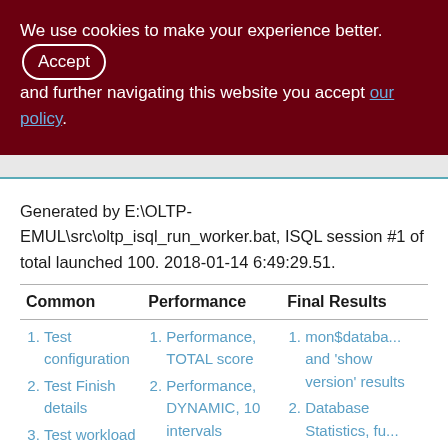We use cookies to make your experience better. By using and further navigating this website you accept our policy.
Generated by E:\OLTP-EMUL\src\oltp_isql_run_worker.bat, ISQL session #1 of total launched 100. 2018-01-14 6:49:29.51.
| Common | Performance | Final Results |
| --- | --- | --- |
| 1. Test configuration
2. Test Finish details
3. Test workload details | 1. Performance, TOTAL score
2. Performance, DYNAMIC, 10 intervals
3. Performance, per MINUTE... | 1. mon$database and 'show version' results
2. Database Statistics, fu...
3. Ratio... |